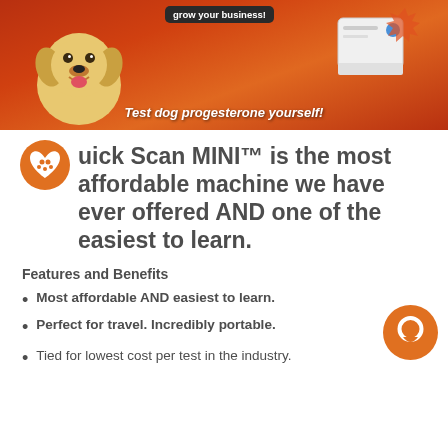[Figure (photo): Promotional banner with a yellow Labrador dog on an orange/red background, a label printer device, speech bubble saying 'grow your business!', and italic text 'Test dog progesterone yourself!']
Quick Scan MINI™ is the most affordable machine we have ever offered AND one of the easiest to learn.
Features and Benefits
Most affordable AND easiest to learn.
Perfect for travel. Incredibly portable.
Tied for lowest cost per test in the industry.